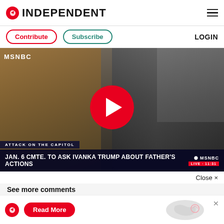INDEPENDENT
Contribute  Subscribe  LOGIN
[Figure (screenshot): MSNBC video screenshot showing two news anchors with play button overlay. Lower third reads: ATTACK ON THE CAPITOL / JAN. 6 CMTE. TO ASK IVANKA TRUMP ABOUT FATHER'S ACTIONS. MSNBC LIVE 11:31]
Close ×
See more comments
[Figure (photo): Partially visible photo below comments section with notification bell icon and X close button]
[Figure (infographic): Bottom advertisement bar with Independent logo, Read More button, world map graphic, and close X]